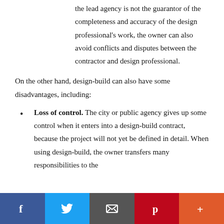the lead agency is not the guarantor of the completeness and accuracy of the design professional's work, the owner can also avoid conflicts and disputes between the contractor and design professional.
On the other hand, design-build can also have some disadvantages, including:
Loss of control. The city or public agency gives up some control when it enters into a design-build contract, because the project will not yet be defined in detail. When using design-build, the owner transfers many responsibilities to the
[Figure (infographic): Social media share bar at bottom with buttons for Facebook, Twitter, Email, Pinterest, and More (+)]